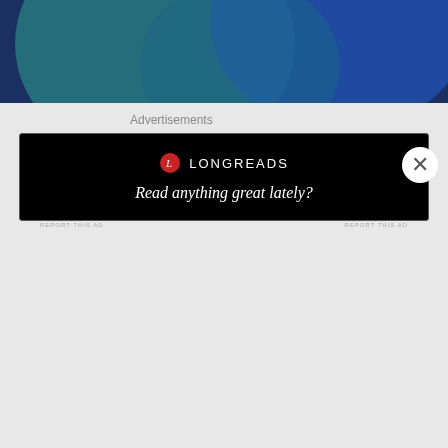[Figure (screenshot): WordPress.com advertisement banner with teal/blue gradient background, pink 'Build Your Website' button and WordPress.com logo]
REPORT THIS AD
Share this:
Share
Like
One blogger likes this.
Related
Putting yourself first is not selfish
60 things I love about myself
Advertisements
[Figure (screenshot): Longreads advertisement with black background, Longreads logo and tagline 'Read anything great lately?']